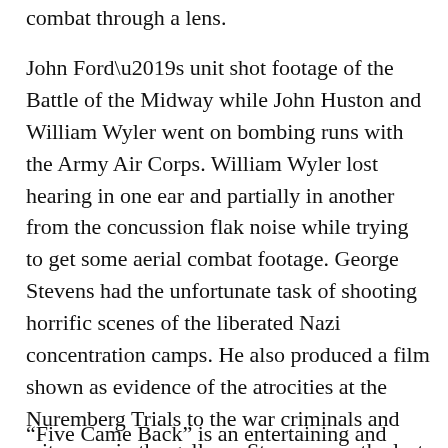combat through a lens.
John Ford’s unit shot footage of the Battle of the Midway while John Huston and William Wyler went on bombing runs with the Army Air Corps. William Wyler lost hearing in one ear and partially in another from the concussion flak noise while trying to get some aerial combat footage. George Stevens had the unfortunate task of shooting horrific scenes of the liberated Nazi concentration camps. He also produced a film shown as evidence of the atrocities at the Nuremberg Trials to the war criminals and witnesses in the gallery.  Stevens was the last to come back and thus through a film lens saw up close the inhumanity people are capable of to other human beings. This experience forever changed George Stevens as the book covers in detail.
“Five Came Back” is an entertaining and informative